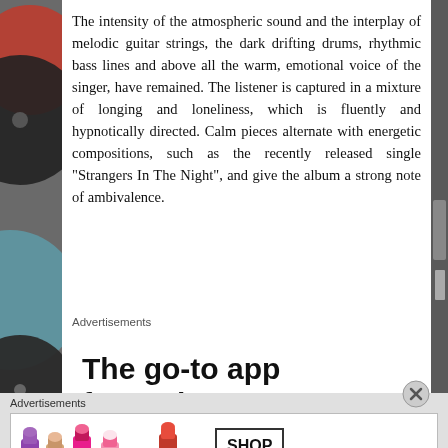The intensity of the atmospheric sound and the interplay of melodic guitar strings, the dark drifting drums, rhythmic bass lines and above all the warm, emotional voice of the singer, have remained. The listener is captured in a mixture of longing and loneliness, which is fluently and hypnotically directed. Calm pieces alternate with energetic compositions, such as the recently released single “Strangers In The Night”, and give the album a strong note of ambivalence.
Advertisements
[Figure (screenshot): Advertisement for a podcast app with bold text reading 'The go-to app for podcast lovers.' with a teal/green graphic card on the right side]
Advertisements
[Figure (screenshot): Advertisement for MAC cosmetics showing lipsticks and the text 'SHOP NOW']